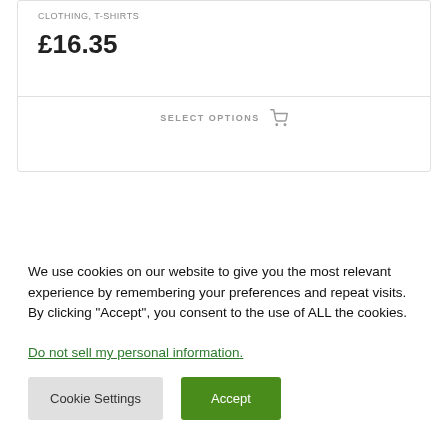CLOTHING, T-SHIRTS
£16.35
SELECT OPTIONS
We use cookies on our website to give you the most relevant experience by remembering your preferences and repeat visits. By clicking "Accept", you consent to the use of ALL the cookies.
Do not sell my personal information.
Cookie Settings
Accept